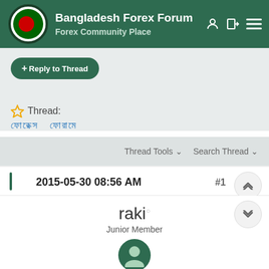Bangladesh Forex Forum — Forex Community Place
+ Reply to Thread
Thread: ফরেক্স ফোরামে
Thread Tools ∨   Search Thread ∨
2015-05-30 08:56 AM   #1
raki ○
Junior Member